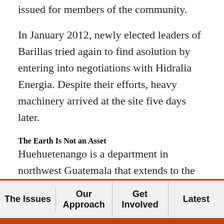issued for members of the community.
In January 2012, newly elected leaders of Barillas tried again to find asolution by entering into negotiations with Hidralia Energia. Despite their efforts, heavy machinery arrived at the site five days later.
The Earth Is Not an Asset
Huehuetenango is a department in northwest Guatemala that extends to the border of Mexico. Its forests are home to the highest numbers of native plant species anywhere in the country. Situated on the northern slope of the Cuchumatanes mountain range, it contains four watersheds, which comprise about
The Issues | Our Approach | Get Involved | Latest